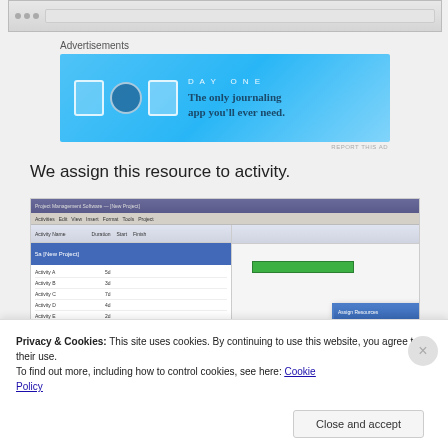[Figure (screenshot): Browser screenshot strip at top of page showing browser chrome]
Advertisements
[Figure (infographic): Day One app advertisement banner in blue: 'DAY ONE - The only journaling app you'll ever need.']
We assign this resource to activity.
[Figure (screenshot): Screenshot of project management software with Gantt chart view and a resource assignment dialog box open]
Privacy & Cookies: This site uses cookies. By continuing to use this website, you agree to their use.
To find out more, including how to control cookies, see here: Cookie Policy
Close and accept